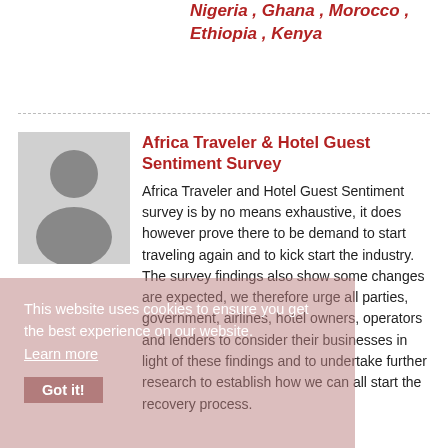Nigeria , Ghana , Morocco , Ethiopia , Kenya
[Figure (photo): Silhouette avatar of a person (gray placeholder user icon)]
Africa Traveler & Hotel Guest Sentiment Survey
Africa Traveler and Hotel Guest Sentiment survey is by no means exhaustive, it does however prove there to be demand to start traveling again and to kick start the industry. The survey findings also show some changes are expected, we therefore urge all parties, government, airlines, hotel owners, operators and lenders to consider their businesses in light of these findings and to undertake further research to establish how we can all start the recovery process.
This website uses cookies to ensure you get the best experience on our website. Learn more
Got it!